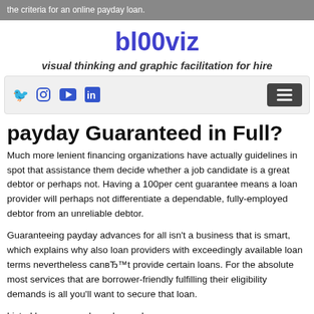the criteria for an online payday loan.
bl00viz
visual thinking and graphic facilitation for hire
[Figure (other): Navigation bar with social media icons (Twitter, Instagram, YouTube, LinkedIn) on the left and a hamburger menu button on the right]
payday Guaranteed in Full?
Much more lenient financing organizations have actually guidelines in spot that assistance them decide whether a job candidate is a great debtor or perhaps not. Having a 100per cent guarantee means a loan provider will perhaps not differentiate a dependable, fully-employed debtor from an unreliable debtor.
Guaranteeing payday advances for all isn't a business that is smart, which explains why also loan providers with exceedingly available loan terms nevertheless canвЂ™t provide certain loans. For the absolute most services that are borrower-friendly fulfilling their eligibility demands is all you'll want to secure that loan.
Listed here are our loan demands: